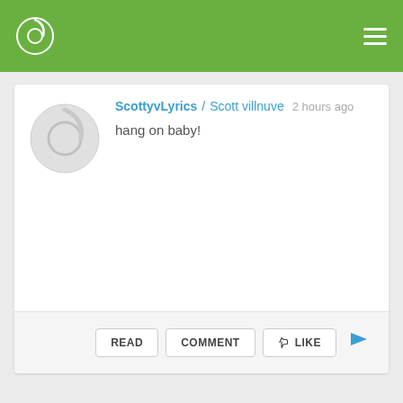ScottyvLyrics app navigation bar
ScottyvLyrics / Scott villnuve  2 hours ago
hang on baby!
READ  COMMENT  LIKE
ScottyvLyrics / Scott villnuve  2 hours ago